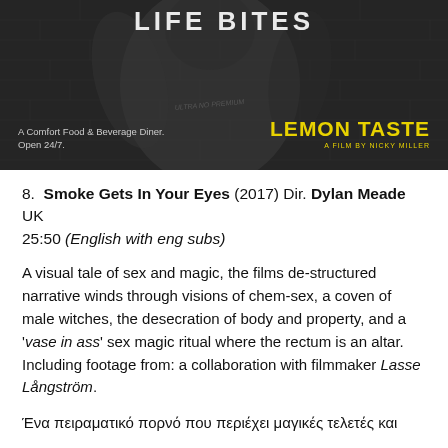[Figure (photo): Black and white film promotional image showing a shirtless person with tattoos against a brick wall background. Text overlays include 'LIFE BITES' at top, 'A Comfort Food & Beverage Diner. Open 24/7.' at bottom left, and 'LEMON TASTE / A FILM BY NICKY MILLER' at bottom right in yellow.]
8.  Smoke Gets In Your Eyes (2017) Dir. Dylan Meade UK 25:50 (English with eng subs)
A visual tale of sex and magic, the films de-structured narrative winds through visions of chem-sex, a coven of male witches, the desecration of body and property, and a 'vase in ass' sex magic ritual where the rectum is an altar.  Including footage from: a collaboration with filmmaker Lasse Långström.
Ένα πειραματικό πορνό που περιέχει μαγικές τελετές και